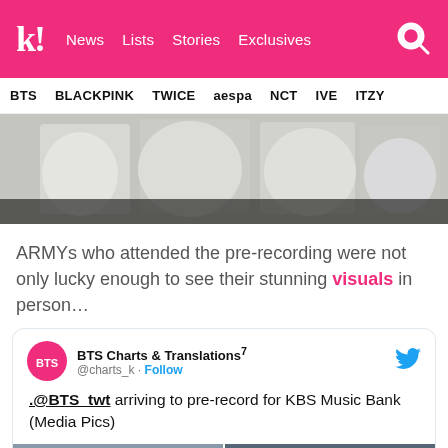k! News | Lists | Stories | Exclusives
BTS | BLACKPINK | TWICE | aespa | NCT | IVE | ITZY
[Figure (photo): People in white/grey outfits sitting together, partially visible]
ARMYs who attended the pre-recording were not only lucky enough to see their stunning visuals in person…
BTS Charts & Translations^7 @charts_k · Follow
.@BTS_twt arriving to pre-record for KBS Music Bank (Media Pics)
[Two media photos below]